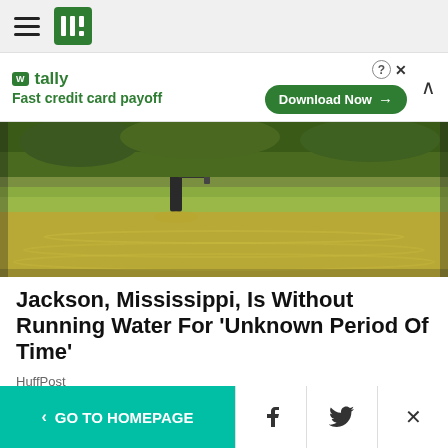HuffPost navigation
[Figure (screenshot): Tally ad banner: Fast credit card payoff - Download Now button]
[Figure (photo): Flooded area with person wading through brown water]
Jackson, Mississippi, Is Without Running Water For 'Unknown Period Of Time'
HuffPost
[Figure (photo): Close-up photo of a woman with dark hair at an event, AT&T logo visible in background]
< GO TO HOMEPAGE